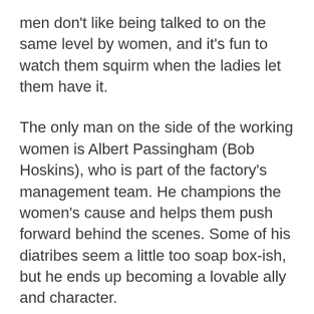men don't like being talked to on the same level by women, and it's fun to watch them squirm when the ladies let them have it.
The only man on the side of the working women is Albert Passingham (Bob Hoskins), who is part of the factory's management team. He champions the women's cause and helps them push forward behind the scenes. Some of his diatribes seem a little too soap box-ish, but he ends up becoming a lovable ally and character.
It's easy to see where this movie is going, especially if you already know about the real-life strike this was based upon. The most moving bits of the movie aren't that of the women overcoming their obstacles in the working field. Watching Rita mature and become her